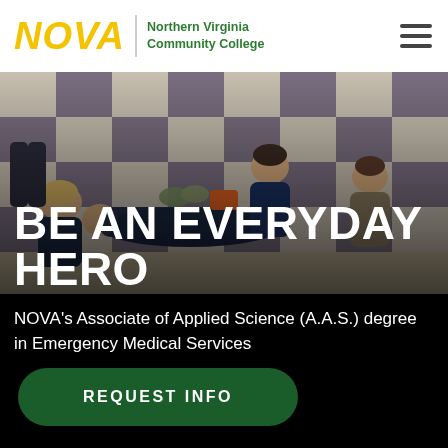NOVA | Northern Virginia Community College
[Figure (photo): Students practicing emergency medical services skills on a person lying on a checkered floor; one student supports the patient's head, another checks vitals, a third assists, in a classroom/gymnasium setting.]
BE AN EVERYDAY HERO
NOVA's Associate of Applied Science (A.A.S.) degree in Emergency Medical Services
REQUEST INFO